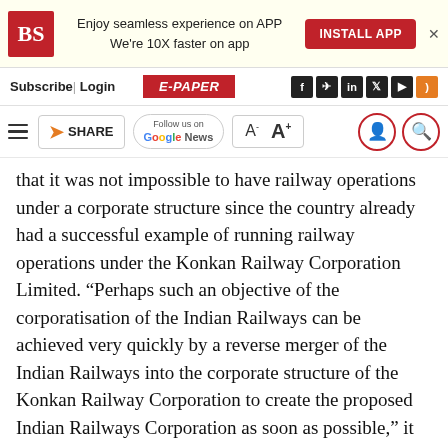[Figure (screenshot): Business Standard website top banner with BS logo, 'Enjoy seamless experience on APP / We're 10X faster on app', INSTALL APP button, and close X]
Subscribe| Login   E-PAPER   [social icons]
[Figure (screenshot): Toolbar with hamburger menu, SHARE button, Follow us on Google News, A- A+ font size controls, user and search icons]
that it was not impossible to have railway operations under a corporate structure since the country already had a successful example of running railway operations under the Konkan Railway Corporation Limited. “Perhaps such an objective of the corporatisation of the Indian Railways can be achieved very quickly by a reverse merger of the Indian Railways into the corporate structure of the Konkan Railway Corporation to create the proposed Indian Railways Corporation as soon as possible,” it said.
It is true that the Patna bench of CAT qualified these pronouncements as obiter dicta and not an order